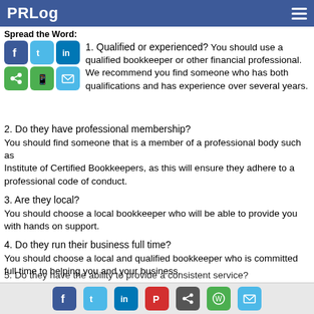PRLog
Spread the Word:
1. Qualified or experienced?
You should use a qualified bookkeeper or other financial professional. We recommend you find someone who has both qualifications and has experience over several years.
2. Do they have professional membership?
You should find someone that is a member of a professional body such as
Institute of Certified Bookkeepers, as this will ensure they adhere to a professional code of conduct.
3. Are they local?
You should choose a local bookkeeper who will be able to provide you with hands on support.
4. Do they run their business full time?
You should choose a local and qualified bookkeeper who is committed full time to helping you and your business.
5. Do they have the ability to provide a consistent service?
Social share icons: Facebook, Twitter, LinkedIn, Pinterest, Share, WhatsApp, Email